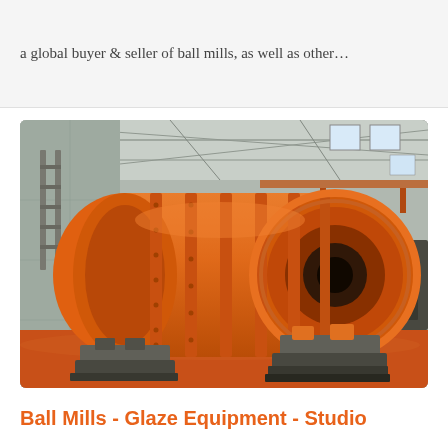a global buyer & seller of ball mills, as well as other…
[Figure (photo): Large orange industrial ball mill lying horizontally on supports inside a factory/warehouse building. The ball mill is a massive cylindrical orange metal vessel with flanged sections and bolt rings, with an open end facing the viewer. It sits on metal support frames on an orange-painted factory floor. The industrial building interior is visible in the background with high ceilings, windows, and overhead crane structures.]
Ball Mills - Glaze Equipment - Studio